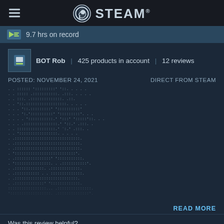STEAM
9.7 hrs on record
BOT Rob | 425 products in account | 12 reviews
POSTED: NOVEMBER 24, 2021    DIRECT FROM STEAM
[ASCII art review content - obfuscated dot/block pattern text]
READ MORE
Was this review helpful?